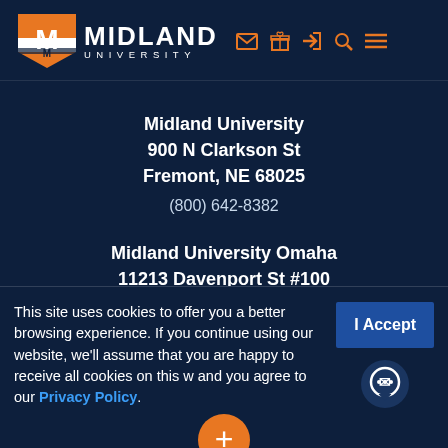[Figure (logo): Midland University logo with orange M shield and white text MIDLAND UNIVERSITY]
Midland University
900 N Clarkson St
Fremont, NE 68025
(800) 642-8382
Midland University Omaha
11213 Davenport St #100
Omaha, NE 68154
(402) 941-6336
This site uses cookies to offer you a better browsing experience. If you continue using our website, we'll assume that you are happy to receive all cookies on this website and you agree to our Privacy Policy.